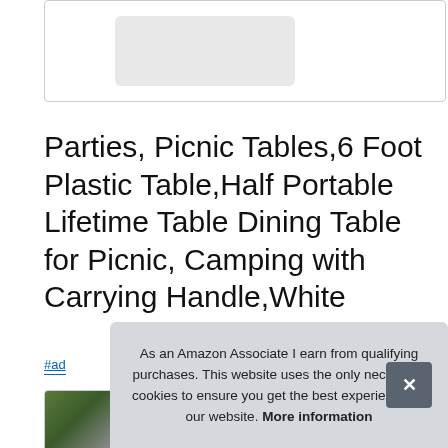[Figure (photo): Partial product image of a white folding table on white background]
Parties, Picnic Tables,6 Foot Plastic Table,Half Portable Lifetime Table Dining Table for Picnic, Camping with Carrying Handle,White
#ad
[Figure (photo): Row of thumbnail product images: outdoor furniture, white table, yellow item, brown item]
As an Amazon Associate I earn from qualifying purchases. This website uses the only necessary cookies to ensure you get the best experience on our website. More information